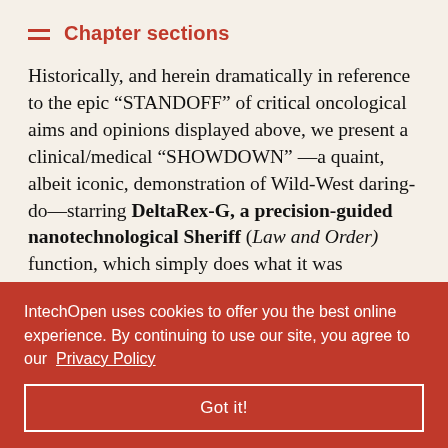Chapter sections
Historically, and herein dramatically in reference to the epic “STANDOFF” of critical oncological aims and opinions displayed above, we present a clinical/medical “SHOWDOWN” —a quaint, albeit iconic, demonstration of Wild-West daring-do—starring DeltaRex-G, a precision-guided nanotechnological Sheriff (Law and Order) function, which simply does what it was purposefully designed to do: To deliver Biologic [content continues] ly into [content continues] ated tumor- [content continues] acting [content continues] atic “Inner [content continues] resent a [content continues] ofty clinical
IntechOpen uses cookies to offer you the best online experience. By continuing to use our site, you agree to our Privacy Policy
Got it!